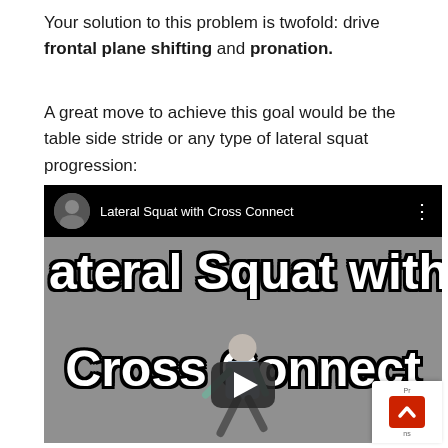Your solution to this problem is twofold: drive frontal plane shifting and pronation.
A great move to achieve this goal would be the table side stride or any type of lateral squat progression:
[Figure (screenshot): YouTube video thumbnail for 'Lateral Squat with Cross Connect' showing a person performing a lateral squat exercise. The video has a black top bar with a circular avatar, the video title, and a three-dot menu. The thumbnail shows large white bold text 'Lateral Squat with Cross Connect' over a gray background with a person squatting, and a YouTube play button overlay. A red scroll-to-top button appears in the bottom right.]